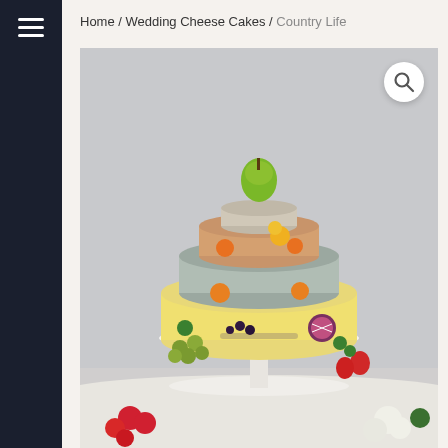Home / Wedding Cheese Cakes / Country Life
[Figure (photo): A tiered wedding cheese cake made from stacked rounds of different cheeses, decorated with fresh fruits including a green pear on top, grapes, strawberries, passion fruit, oranges, flowers, and green herbs, displayed on a white cake stand with floral arrangements around the base, against a light grey background.]